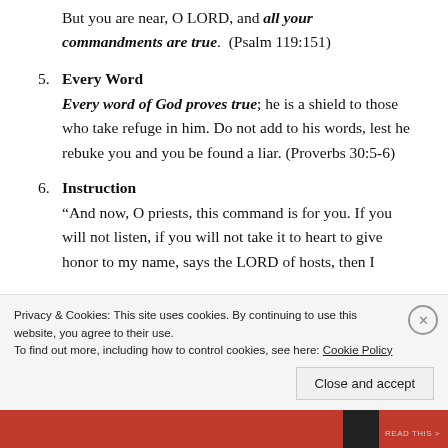But you are near, O LORD, and all your commandments are true. (Psalm 119:151)
5. Every Word
Every word of God proves true; he is a shield to those who take refuge in him. Do not add to his words, lest he rebuke you and you be found a liar. (Proverbs 30:5-6)
6. Instruction
“And now, O priests, this command is for you. If you will not listen, if you will not take it to heart to give honor to my name, says the LORD of hosts, then I
Privacy & Cookies: This site uses cookies. By continuing to use this website, you agree to their use.
To find out more, including how to control cookies, see here: Cookie Policy
Close and accept